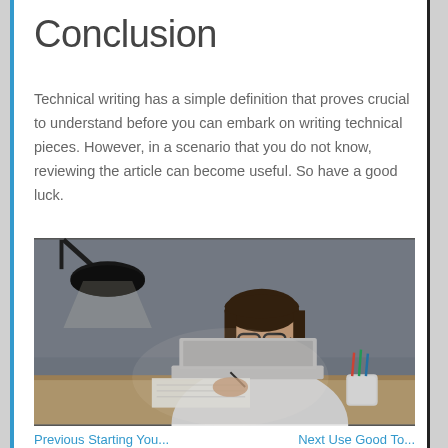Conclusion
Technical writing has a simple definition that proves crucial to understand before you can embark on writing technical pieces. However, in a scenario that you do not know, reviewing the article can become useful. So have a good luck.
[Figure (photo): A young woman wearing glasses and a white t-shirt sitting at a desk, writing notes while using a laptop. A desk lamp is visible in the upper left and a mug with pens/pencils in the lower right. The background is a grey wall.]
Previous Starting You...     Next Use Good To...